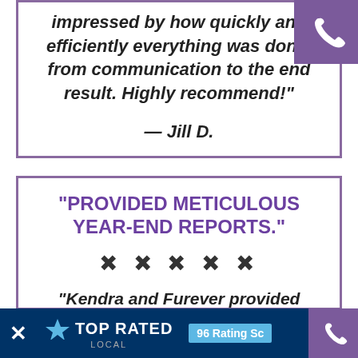impressed by how quickly and efficiently everything was done, from communication to the end result. Highly recommend!"
— Jill D.
"PROVIDED METICULOUS YEAR-END REPORTS."
[Figure (other): Five star rating icons]
"Kendra and Furever provided meticulous year-end reports, something I haven't had since I st...
[Figure (logo): Top Rated Local logo with 96 rating score badge and phone icon]